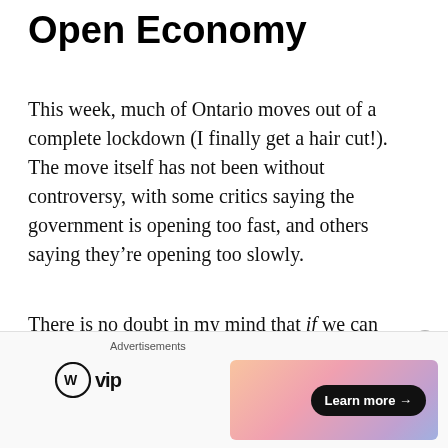Open Economy
This week, much of Ontario moves out of a complete lockdown (I finally get a hair cut!). The move itself has not been without controversy, with some critics saying the government is opening too fast, and others saying they’re opening too slowly.
There is no doubt in my mind that if we can re-open the economy safely, we should. COVID19 has done terrible damage over the past year. Lives lost. Families unable to say goodbye to
[Figure (other): Advertisement bar with WordPress VIP logo and a gradient banner with 'Learn more' button]
Advertisements